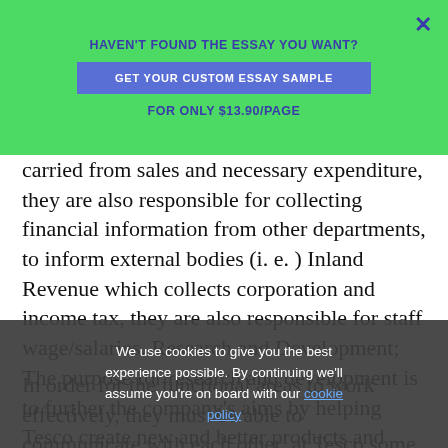HAVEN'T FOUND THE ESSAY YOU WANT?
GET YOUR CUSTOM ESSAY SAMPLE
FOR ONLY $13.90/PAGE
carried from sales and necessary expenditure, they are also responsible for collecting financial information from other departments, to inform external bodies (i. e. ) Inland Revenue which collects corporation and income tax, they are also responsible for staff wage/salaries. Research and Development; The purpose for research and development is to further the company's aims by helping Tesco create new and better products and services to meet their customer needs. How the functional areas help Tesco meets its aims;
In order for the functional areas to work effectively, they must be able to communicate with each other, at Tesco some of the ways they do this is by holding regular appraisal schemes, setting up staff training
We use cookies to give you the best experience possible. By continuing we'll assume you're on board with our cookie policy